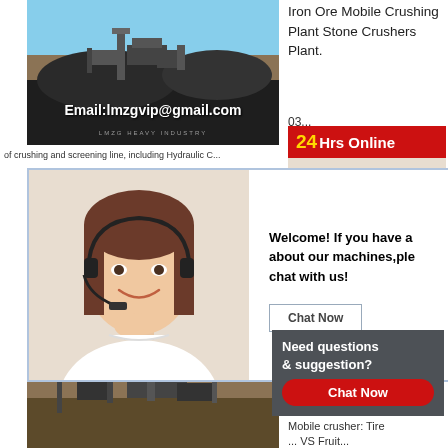[Figure (photo): Mining/crushing plant machinery photo with email overlay: Email:lmzgvip@gmail.com]
of crushing and screening line, including Hydraulic C...
[Figure (screenshot): Chat popup with female agent wearing headset. Text: Welcome! If you have a[ny questions] about our machines,ple[ase] chat with us! Button: Chat Now]
[Figure (photo): 24Hrs Online banner with female agent wearing headset]
03... ma... pr...
Need questions & suggestion?
Chat Now
[Figure (photo): Bottom photo of mobile crushing plant machinery]
Iron Ore Mobile Crushing Plant Stone Crushers Plant.
angola.Items 126 150 Mobile Stone Crusher Crushing Plant for Sale Factory Price
Mobile crusher: Tire ... VS Fruit...